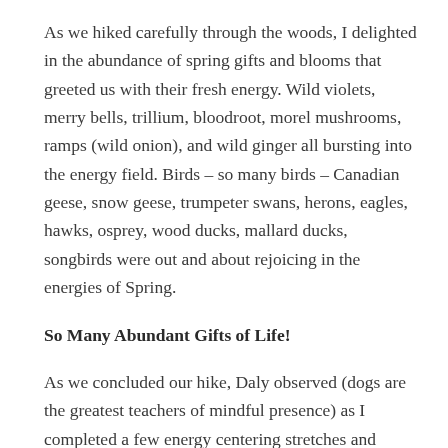As we hiked carefully through the woods, I delighted in the abundance of spring gifts and blooms that greeted us with their fresh energy. Wild violets, merry bells, trillium, bloodroot, morel mushrooms, ramps (wild onion), and wild ginger all bursting into the energy field. Birds – so many birds – Canadian geese, snow geese, trumpeter swans, herons, eagles, hawks, osprey, wood ducks, mallard ducks, songbirds were out and about rejoicing in the energies of Spring.
So Many Abundant Gifts of Life!
As we concluded our hike, Daly observed (dogs are the greatest teachers of mindful presence) as I completed a few energy centering stretches and